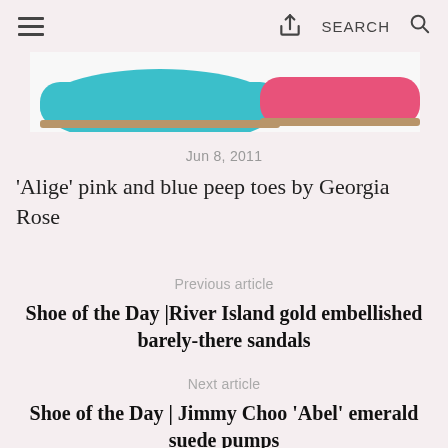≡  [share]  SEARCH  🔍
[Figure (photo): Cropped photo showing two shoes — one turquoise/blue and one pink — viewed from above on a white background]
Jun 8, 2011
'Alige' pink and blue peep toes by Georgia Rose
Previous article
Shoe of the Day |River Island gold embellished barely-there sandals
Next article
Shoe of the Day | Jimmy Choo 'Abel' emerald suede pumps